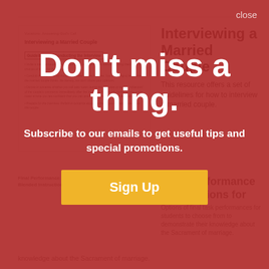[Figure (screenshot): Thumbnail of a document page titled 'Interviewing a Married Couple' with guidelines section visible]
Interviewing a Married Couple
This resource offers a set of guidelines for how to interview a married couple.
Don't miss a thing.
Subscribe to our emails to get useful tips and special promotions.
Sign Up